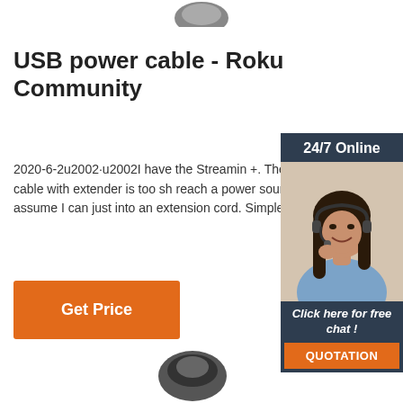[Figure (photo): Partial view of a dark product (USB cable/device) at the top of the page, cropped]
USB power cable - Roku Community
2020-6-2u2002·u2002I have the Streamin +. The power cable with extender is too sh reach a power source. I assume I can just into an extension cord. Simple question.
[Figure (photo): Advertisement sidebar with a woman wearing a headset, smiling. Header says '24/7 Online', footer says 'Click here for free chat!' with a QUOTATION button.]
[Figure (other): Orange 'Get Price' button]
[Figure (photo): Partial view of a dark product/device at the bottom of the page, cropped]